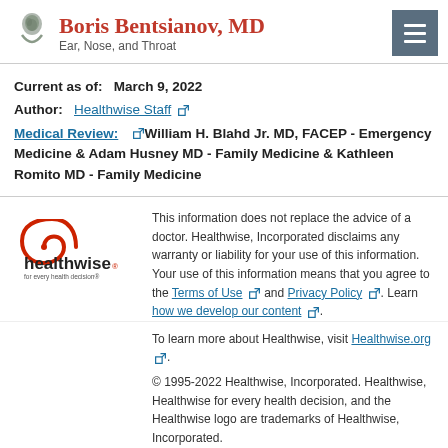Boris Bentsianov, MD
Ear, Nose, and Throat
Current as of:   March 9, 2022
Author:   Healthwise Staff [external link]
Medical Review:  [external link] William H. Blahd Jr. MD, FACEP - Emergency Medicine & Adam Husney MD - Family Medicine & Kathleen Romito MD - Family Medicine
[Figure (logo): Healthwise logo - circular red wave icon with text 'healthwise for every health decision']
This information does not replace the advice of a doctor. Healthwise, Incorporated disclaims any warranty or liability for your use of this information. Your use of this information means that you agree to the Terms of Use [external link] and Privacy Policy [external link]. Learn how we develop our content [external link].
To learn more about Healthwise, visit Healthwise.org [external link].
© 1995-2022 Healthwise, Incorporated. Healthwise, Healthwise for every health decision, and the Healthwise logo are trademarks of Healthwise, Incorporated.